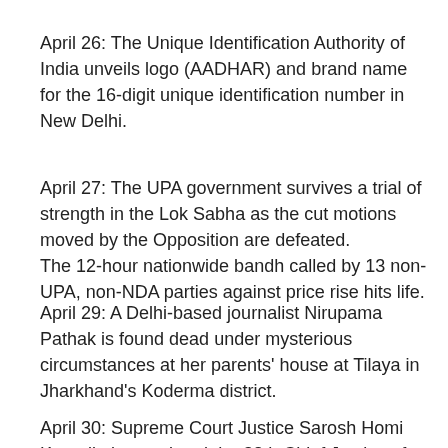April 26: The Unique Identification Authority of India unveils logo (AADHAR) and brand name for the 16-digit unique identification number in New Delhi.
April 27: The UPA government survives a trial of strength in the Lok Sabha as the cut motions moved by the Opposition are defeated. The 12-hour nationwide bandh called by 13 non-UPA, non-NDA parties against price rise hits life.
April 29: A Delhi-based journalist Nirupama Pathak is found dead under mysterious circumstances at her parents' house at Tilaya in Jharkhand's Koderma district.
April 30: Supreme Court Justice Sarosh Homi Kapadia is appointed the 38th Chief Justice of India.